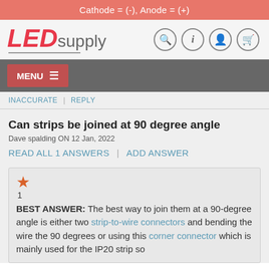Cathode = (-), Anode = (+)
[Figure (logo): LEDsupply logo with navigation icons (search, info, user, cart)]
MENU
INACCURATE | REPLY
Can strips be joined at 90 degree angle
Dave spalding ON 12 Jan, 2022
READ ALL 1 ANSWERS | ADD ANSWER
BEST ANSWER: The best way to join them at a 90-degree angle is either two strip-to-wire connectors and bending the wire the 90 degrees or using this corner connector which is mainly used for the IP20 strip so